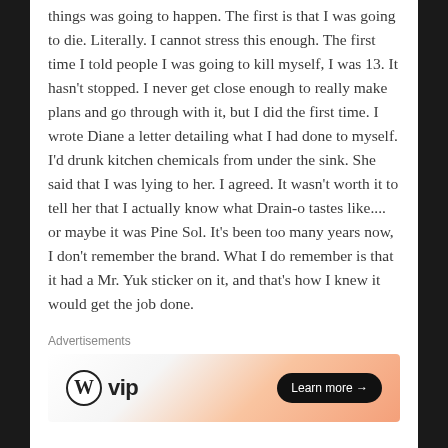things was going to happen. The first is that I was going to die. Literally. I cannot stress this enough. The first time I told people I was going to kill myself, I was 13. It hasn't stopped. I never get close enough to really make plans and go through with it, but I did the first time. I wrote Diane a letter detailing what I had done to myself. I'd drunk kitchen chemicals from under the sink. She said that I was lying to her. I agreed. It wasn't worth it to tell her that I actually know what Drain-o tastes like.... or maybe it was Pine Sol. It's been too many years now, I don't remember the brand. What I do remember is that it had a Mr. Yuk sticker on it, and that's how I knew it would get the job done.
Advertisements
[Figure (other): WordPress VIP advertisement banner with logo on left and 'Learn more →' button on right, gradient orange background on right half]